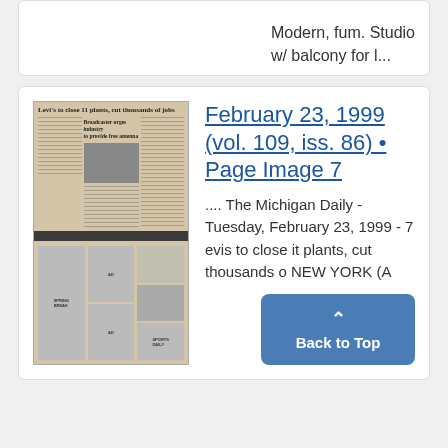Modern, fum. Studio w/ balcony for l...
[Figure (photo): Thumbnail of a newspaper page - The Michigan Daily, Tuesday, February 23, 1999. Shows headlines including 'Levi's to close 11 plants, cut thousands of jobs' and 'Broadcaster urges industry to provide free antenna'. Contains columns of text, a photo, a dark banner, and advertisement blocks at bottom.]
February 23, 1999 (vol. 109, iss. 86) • Page Image 7
.... The Michigan Daily - Tuesday, February 23, 1999 - 7 evis to close it plants, cut thousands o NEW YORK (A